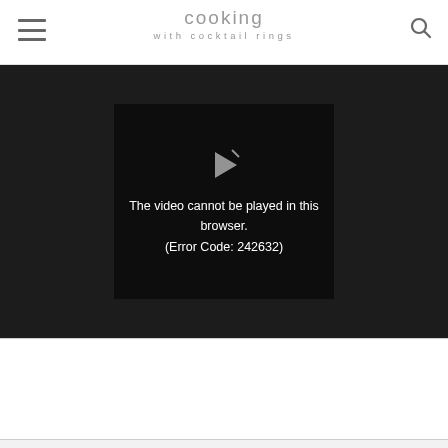cooking with cocktail rings
[Figure (screenshot): Video player showing error message: The video cannot be played in this browser. (Error Code: 242632)]
The video cannot be played in this browser. (Error Code: 242632)